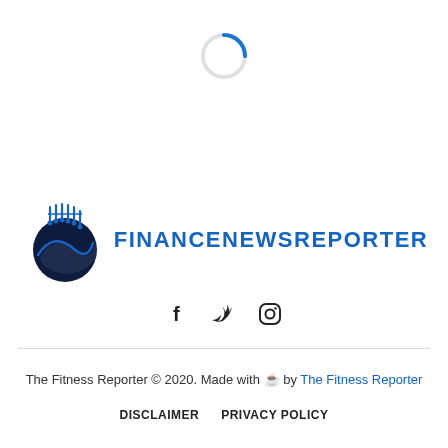[Figure (other): Loading spinner — a blue circular arc indicating page content loading]
[Figure (logo): FinanceNewsReporter logo: a dark navy circular badge with circuit/wave design on the left, and the text FINANCENEWSREPORTER in bold blue capitals on the right]
[Figure (other): Social media icons: Facebook (f), Twitter (bird/y), Instagram (camera/circle)]
The Fitness Reporter © 2020. Made with ☕ by The Fitness Reporter
DISCLAIMER   PRIVACY POLICY